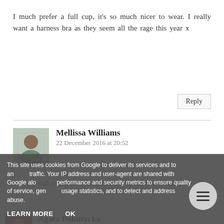I much prefer a full cup, it's so much nicer to wear. I really want a harness bra as they seem all the rage this year x
Reply
Mellissa Williams
22 December 2016 at 20:52
I like a full cup bra too, and it can be sexy as well.
Agata Pokutycka
This site uses cookies from Google to deliver its services and to analyse traffic. Your IP address and user-agent are shared with Google along with performance and security metrics to ensure quality of service, generate usage statistics, and to detect and address abuse.
LEARN MORE   OK